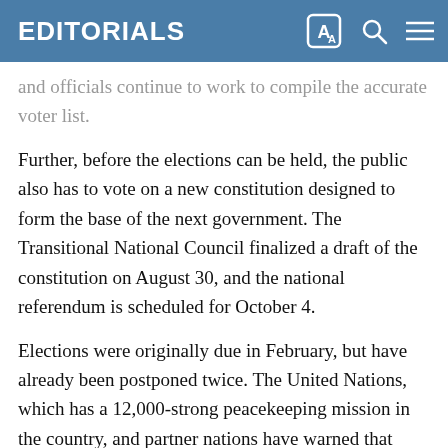EDITORIALS
and officials continue to work to compile the accurate voter list.
Further, before the elections can be held, the public also has to vote on a new constitution designed to form the base of the next government. The Transitional National Council finalized a draft of the constitution on August 30, and the national referendum is scheduled for October 4.
Elections were originally due in February, but have already been postponed twice. The United Nations, which has a 12,000-strong peacekeeping mission in the country, and partner nations have warned that significant delays beyond the current elections calendar could worsen security.